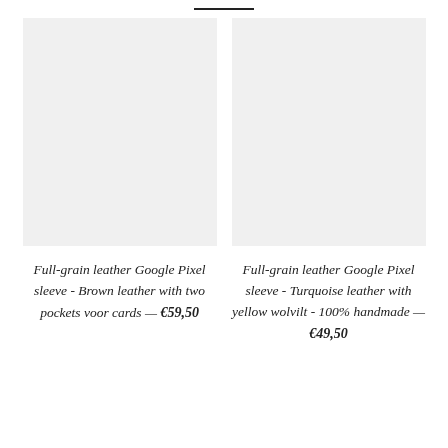[Figure (photo): Light gray placeholder image for Full-grain leather Google Pixel sleeve - Brown]
Full-grain leather Google Pixel sleeve - Brown leather with two pockets voor cards — €59,50
[Figure (photo): Light gray placeholder image for Full-grain leather Google Pixel sleeve - Turquoise]
Full-grain leather Google Pixel sleeve - Turquoise leather with yellow wolvilt - 100% handmade — €49,50